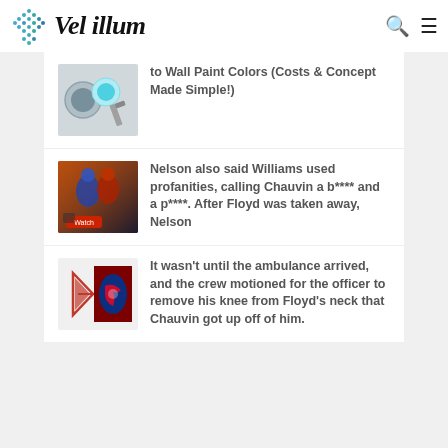Vel illum
[Figure (photo): Paint cans and brushes thumbnail image]
to Wall Paint Colors (Costs & Concept Made Simple!)
[Figure (photo): Football game screenshot with Watch button thumbnail]
Nelson also said Williams used profanities, calling Chauvin a b**** and a p****. After Floyd was taken away, Nelson
[Figure (logo): New England Patriots and Buffalo Bills logos side by side]
It wasn't until the ambulance arrived, and the crew motioned for the officer to remove his knee from Floyd's neck that Chauvin got up off of him.